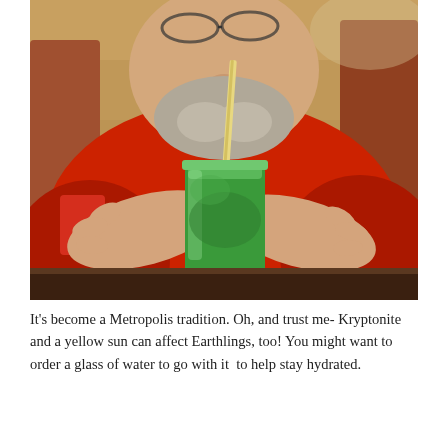[Figure (photo): A man in a red shirt drinking from a mason jar filled with bright green juice through a straw, sitting at a dark wooden table in a restaurant setting.]
It's become a Metropolis tradition. Oh, and trust me- Kryptonite and a yellow sun can affect Earthlings, too! You might want to order a glass of water to go with it  to help stay hydrated.